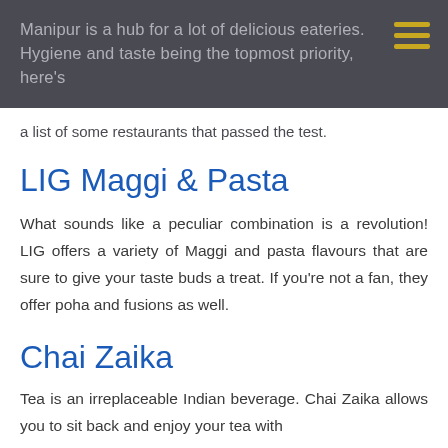Manipur is a hub for a lot of delicious eateries. Hygiene and taste being the topmost priority, here's a list of some restaurants that passed the test.
a list of some restaurants that passed the test.
LIG Maggi & Pasta
What sounds like a peculiar combination is a revolution! LIG offers a variety of Maggi and pasta flavours that are sure to give your taste buds a treat. If you're not a fan, they offer poha and fusions as well.
Chai Zaika
Tea is an irreplaceable Indian beverage. Chai Zaika allows you to sit back and enjoy your tea with